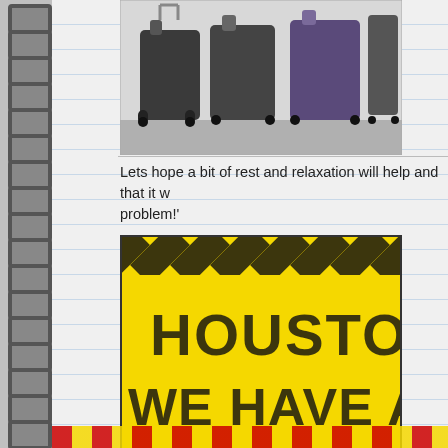[Figure (photo): Luggage/suitcases on trolleys at an airport, partially visible at top of page]
Lets hope a bit of rest and relaxation will help and that it w... problem!'
[Figure (photo): Yellow and black caution tape style sign reading 'HOUSTON, WE HAVE A PROBLEM' in distressed block letters]
posted
← OLDER